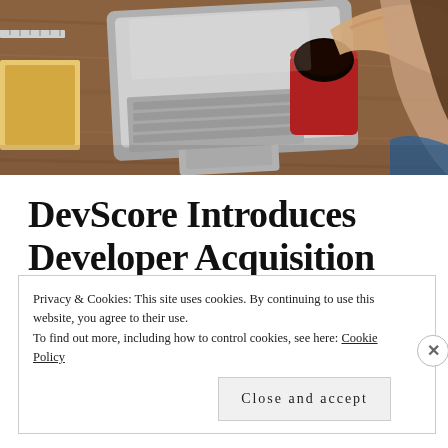[Figure (photo): Overhead photo of a person's hands on a laptop trackpad, holding a red coffee cup with dark coffee, on a wooden desk with papers and a ruler visible]
DevScore Introduces Developer Acquisition Functionality
Privacy & Cookies: This site uses cookies. By continuing to use this website, you agree to their use.
To find out more, including how to control cookies, see here: Cookie Policy
[✕]
Close and accept